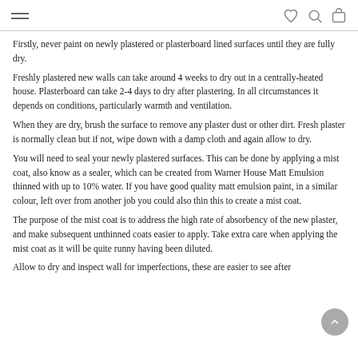[hamburger menu] [heart icon] [search icon] [bag icon]
Firstly, never paint on newly plastered or plasterboard lined surfaces until they are fully dry.
Freshly plastered new walls can take around 4 weeks to dry out in a centrally-heated house. Plasterboard can take 2-4 days to dry after plastering. In all circumstances it depends on conditions, particularly warmth and ventilation.
When they are dry, brush the surface to remove any plaster dust or other dirt. Fresh plaster is normally clean but if not, wipe down with a damp cloth and again allow to dry.
You will need to seal your newly plastered surfaces. This can be done by applying a mist coat, also know as a sealer, which can be created from Warner House Matt Emulsion thinned with up to 10% water. If you have good quality matt emulsion paint, in a similar colour, left over from another job you could also thin this to create a mist coat.
The purpose of the mist coat is to address the high rate of absorbency of the new plaster, and make subsequent unthinned coats easier to apply. Take extra care when applying the mist coat as it will be quite runny having been diluted.
Allow to dry and inspect wall for imperfections, these are easier to see after